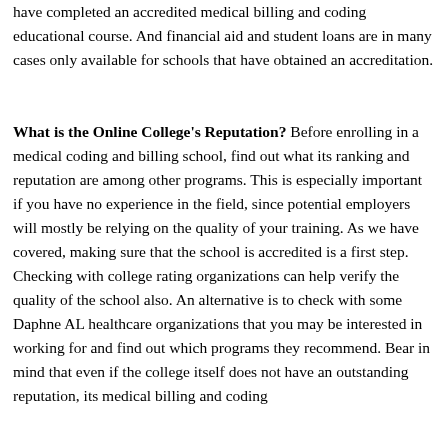have completed an accredited medical billing and coding educational course. And financial aid and student loans are in many cases only available for schools that have obtained an accreditation.
What is the Online College's Reputation? Before enrolling in a medical coding and billing school, find out what its ranking and reputation are among other programs. This is especially important if you have no experience in the field, since potential employers will mostly be relying on the quality of your training. As we have covered, making sure that the school is accredited is a first step. Checking with college rating organizations can help verify the quality of the school also. An alternative is to check with some Daphne AL healthcare organizations that you may be interested in working for and find out which programs they recommend. Bear in mind that even if the college itself does not have an outstanding reputation, its medical billing and coding